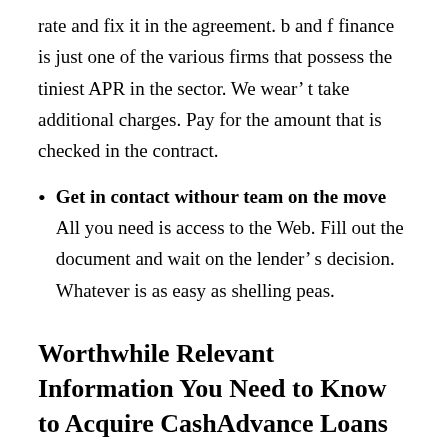rate and fix it in the agreement. b and f finance is just one of the various firms that possess the tiniest APR in the sector. We wear't take additional charges. Pay for the amount that is checked in the contract.
Get in contact withour team on the move All you need is access to the Web. Fill out the document and wait on the lender's decision. Whatever is as easy as shelling peas.
Worthwhile Relevant Information You Need to Know to Acquire CashAdvance Loans in Harrisburg (PA)